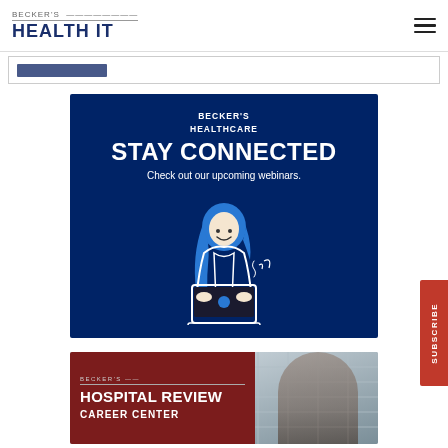BECKER'S HEALTH IT
[Figure (screenshot): Search bar strip with partial blue highlighted content]
[Figure (illustration): Becker's Healthcare advertisement banner with dark navy background. Text reads: BECKER'S HEALTHCARE / STAY CONNECTED / Check out our upcoming webinars. Features an illustration of a woman with blue hair working on a laptop.]
[Figure (illustration): Becker's Hospital Review Career Center advertisement banner. Shows a partial photo of a person against a building background with a dark red overlay containing the text BECKER'S / HOSPITAL REVIEW / CAREER CENTER]